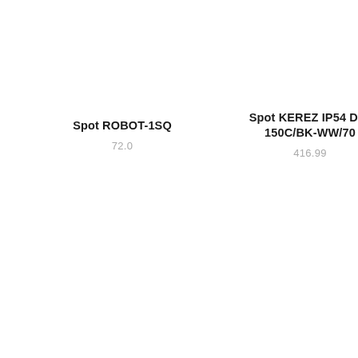Spot ROBOT-1SQ
72.0
Spot KEREZ IP54 DG-150C/BK-WW/70
416.99